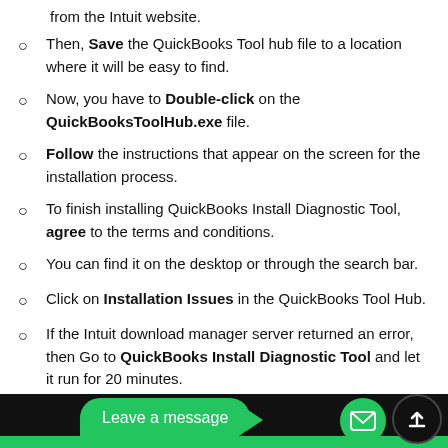from the Intuit website.
Then, Save the QuickBooks Tool hub file to a location where it will be easy to find.
Now, you have to Double-click on the QuickBooksToolHub.exe file.
Follow the instructions that appear on the screen for the installation process.
To finish installing QuickBooks Install Diagnostic Tool, agree to the terms and conditions.
You can find it on the desktop or through the search bar.
Click on Installation Issues in the QuickBooks Tool Hub.
If the Intuit download manager server returned an error, then Go to QuickBooks Install Diagnostic Tool and let it run for 20 minutes.
Restart the system, [partially obscured]
[Figure (other): Green chat overlay with 'Leave a message' button, email icon button, and upload icon button at bottom of page]